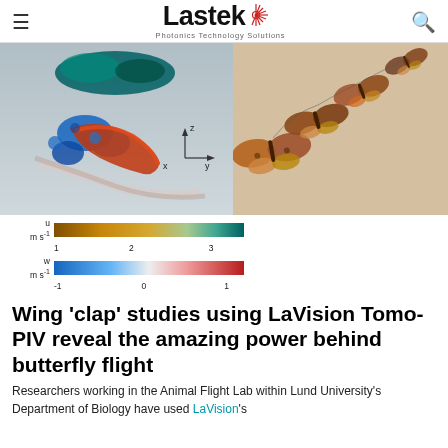Lastek – Photonics Technology Solutions
[Figure (photo): Left: 3D tomographic PIV visualization of butterfly wing vortices with colorbar scales for u (m/s) 1–3 and w (m/s) -1–1. Right: Photo of butterflies in flight sequence.]
Wing 'clap' studies using LaVision Tomo-PIV reveal the amazing power behind butterfly flight
Researchers working in the Animal Flight Lab within Lund University's Department of Biology have used LaVision's